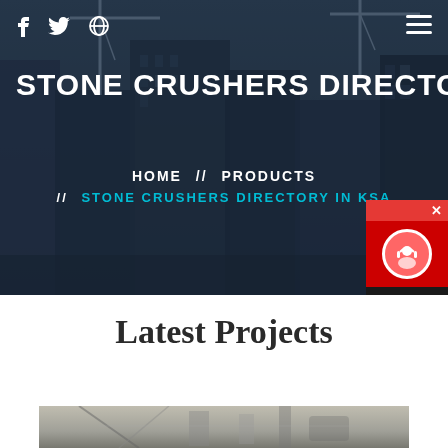f  🐦  ⊕  ≡
STONE CRUSHERS DIRECTORY I
HOME  //  PRODUCTS
//  STONE CRUSHERS DIRECTORY IN KSA
[Figure (screenshot): Chat Now widget with red background, headset icon, and close button]
Latest Projects
[Figure (photo): Industrial stone crusher machinery interior photo]